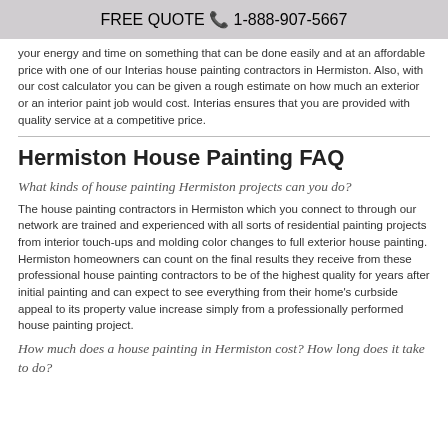FREE QUOTE  1-888-907-5667
your energy and time on something that can be done easily and at an affordable price with one of our Interias house painting contractors in Hermiston. Also, with our cost calculator you can be given a rough estimate on how much an exterior or an interior paint job would cost. Interias ensures that you are provided with quality service at a competitive price.
Hermiston House Painting FAQ
What kinds of house painting Hermiston projects can you do?
The house painting contractors in Hermiston which you connect to through our network are trained and experienced with all sorts of residential painting projects from interior touch-ups and molding color changes to full exterior house painting. Hermiston homeowners can count on the final results they receive from these professional house painting contractors to be of the highest quality for years after initial painting and can expect to see everything from their home's curbside appeal to its property value increase simply from a professionally performed house painting project.
How much does a house painting in Hermiston cost? How long does it take to do?